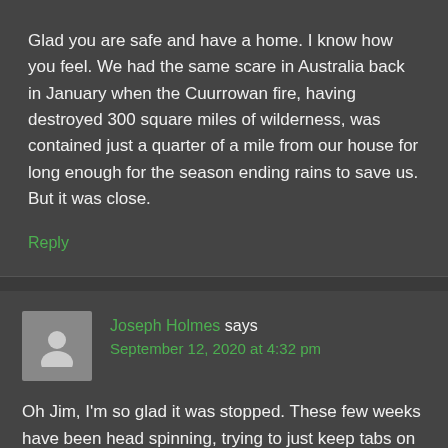Glad you are safe and have a home. I know how you feel. We had the same scare in Australia back in January when the Cuurrowan fire, having destroyed 300 square miles of wilderness, was contained just a quarter of a mile from our house for long enough for the season ending rains to save us. But it was close.
Reply
Joseph Holmes says
September 12, 2020 at 4:32 pm
Oh Jim, I'm so glad it was stopped. These few weeks have been head spinning, trying to just keep tabs on all